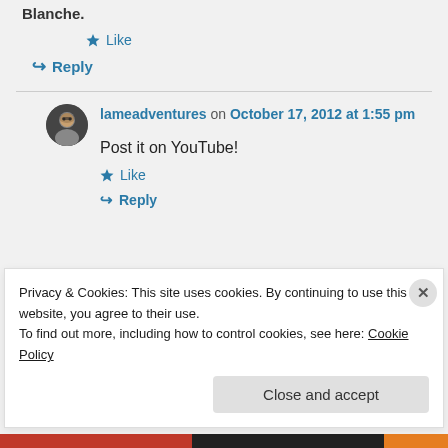Blanche.
★ Like
↪ Reply
lameadventures on October 17, 2012 at 1:55 pm
Post it on YouTube!
★ Like
↪ Reply
Privacy & Cookies: This site uses cookies. By continuing to use this website, you agree to their use. To find out more, including how to control cookies, see here: Cookie Policy
Close and accept